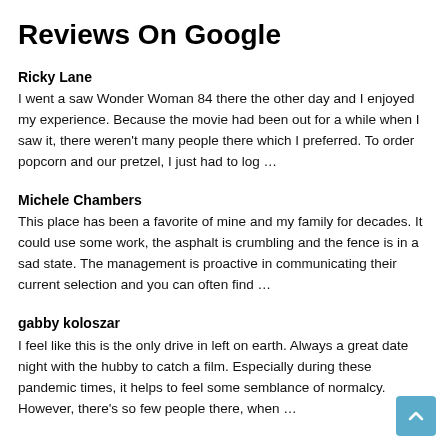Reviews On Google
Ricky Lane
I went a saw Wonder Woman 84 there the other day and I enjoyed my experience. Because the movie had been out for a while when I saw it, there weren't many people there which I preferred. To order popcorn and our pretzel, I just had to log …
Michele Chambers
This place has been a favorite of mine and my family for decades. It could use some work, the asphalt is crumbling and the fence is in a sad state. The management is proactive in communicating their current selection and you can often find …
gabby koloszar
I feel like this is the only drive in left on earth. Always a great date night with the hubby to catch a film. Especially during these pandemic times, it helps to feel some semblance of normalcy. However, there's so few people there, when …